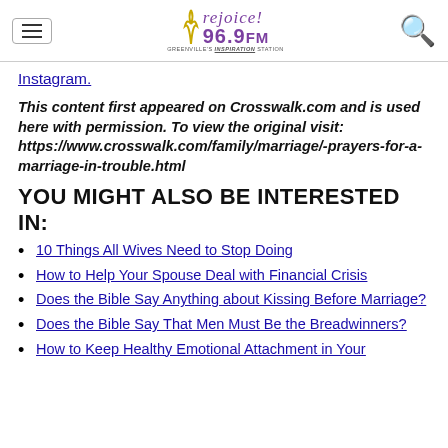Rejoice! 96.9 FM — Greenville's Inspiration Station
Instagram.
This content first appeared on Crosswalk.com and is used here with permission. To view the original visit: https://www.crosswalk.com/family/marriage/-prayers-for-a-marriage-in-trouble.html
YOU MIGHT ALSO BE INTERESTED IN:
10 Things All Wives Need to Stop Doing
How to Help Your Spouse Deal with Financial Crisis
Does the Bible Say Anything about Kissing Before Marriage?
Does the Bible Say That Men Must Be the Breadwinners?
How to Keep Healthy Emotional Attachment in Your